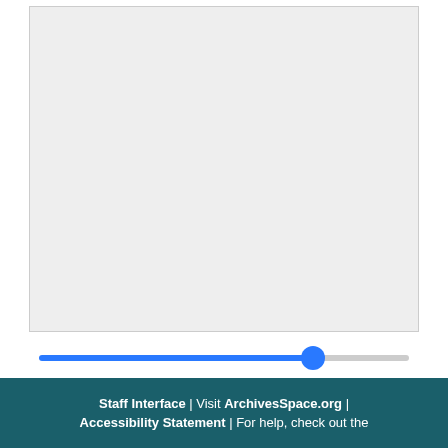[Figure (screenshot): A large light gray rectangular content area with a thin border, taking up most of the upper portion of the page.]
[Figure (other): A horizontal slider control with a blue filled track on the left and gray unfilled track on the right, with a blue circular thumb positioned approximately 75% from the left.]
Staff Interface | Visit ArchivesSpace.org | Accessibility Statement | For help, check out the